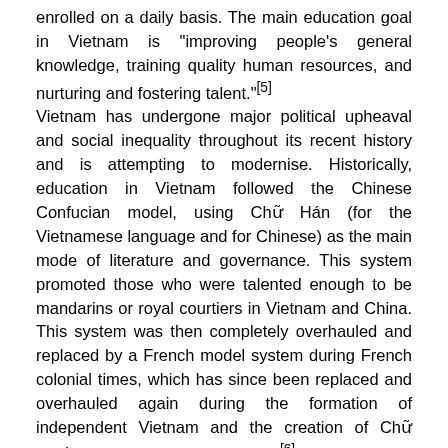enrolled on a daily basis. The main education goal in Vietnam is "improving people's general knowledge, training quality human resources, and nurturing and fostering talent."[5]
Vietnam has undergone major political upheaval and social inequality throughout its recent history and is attempting to modernise. Historically, education in Vietnam followed the Chinese Confucian model, using Chữ Hán (for the Vietnamese language and for Chinese) as the main mode of literature and governance. This system promoted those who were talented enough to be mandarins or royal courtiers in Vietnam and China. This system was then completely overhauled and replaced by a French model system during French colonial times, which has since been replaced and overhauled again during the formation of independent Vietnam and the creation of Chữ Quốc Ngữ alphabet in the 1920s.[6]
Vietnam is known for its curriculum that is deemed highly competitive. High school education is one of the most significant social issues in the country: designated schools known as "High Schools for the Gifted" (Trường Trung học phổ thông chuyên) offer additional